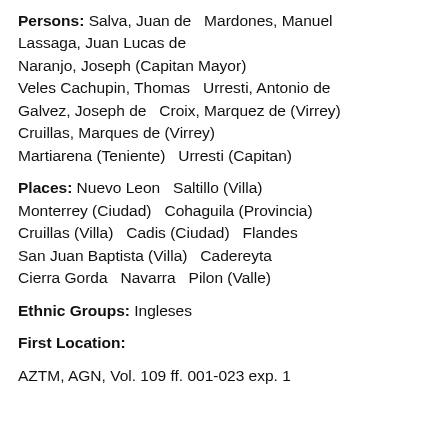Persons: Salva, Juan de  Mardones, Manuel  Lassaga, Juan Lucas de  Naranjo, Joseph (Capitan Mayor)  Veles Cachupin, Thomas  Urresti, Antonio de  Galvez, Joseph de  Croix, Marquez de (Virrey)  Cruillas, Marques de (Virrey)  Martiarena (Teniente)  Urresti (Capitan)
Places: Nuevo Leon  Saltillo (Villa)  Monterrey (Ciudad)  Cohaguila (Provincia)  Cruillas (Villa)  Cadis (Ciudad)  Flandes  San Juan Baptista (Villa)  Cadereyta  Cierra Gorda  Navarra  Pilon (Valle)
Ethnic Groups: Ingleses
First Location:
AZTM, AGN, Vol. 109 ff. 001-023 exp. 1